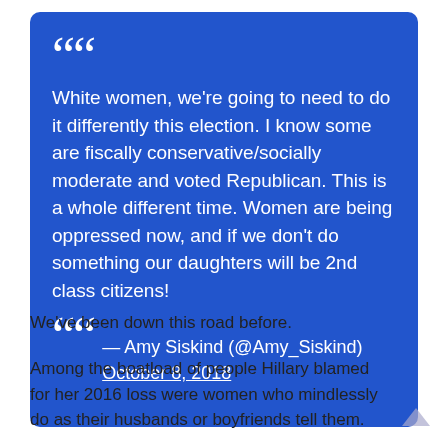[Figure (infographic): Blue rounded-corner quote box containing a blockquote with large opening and closing quotation mark icons, the quote text, and attribution with underlined link.]
We've been down this road before.
Among the boatload of people Hillary blamed for her 2016 loss were women who mindlessly do as their husbands or boyfriends tell them.